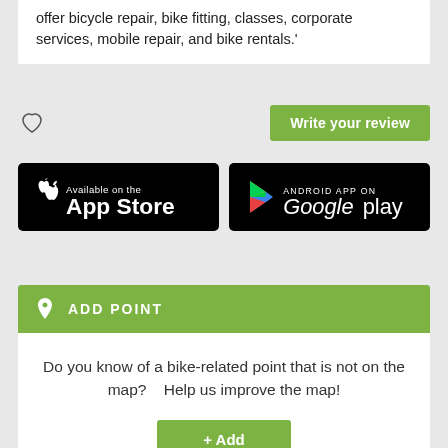offer bicycle repair, bike fitting, classes, corporate services, mobile repair, and bike rentals.'
[Figure (illustration): Heart (favorite) icon and green 'Write your review' button]
[Figure (logo): Apple App Store badge - Available on the App Store]
[Figure (logo): Google Play badge - Android App on Google Play]
ADD POINT
Do you know of a bike-related point that is not on the map?    Help us improve the map!
+ Add